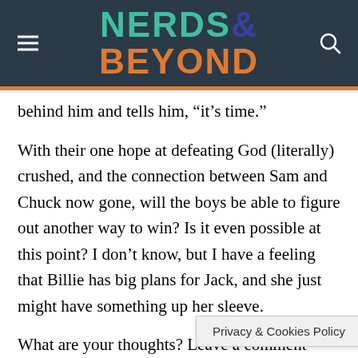NERDS& BEYOND
behind him and tells him, “it’s time.”
With their one hope at defeating God (literally) crushed, and the connection between Sam and Chuck now gone, will the boys be able to figure out another way to win? Is it even possible at this point? I don’t know, but I have a feeling that Billie has big plans for Jack, and she just might have something up her sleeve.
What are your thoughts? Leave a comment below and make sure to tu… e Heroes’
Privacy & Cookies Policy